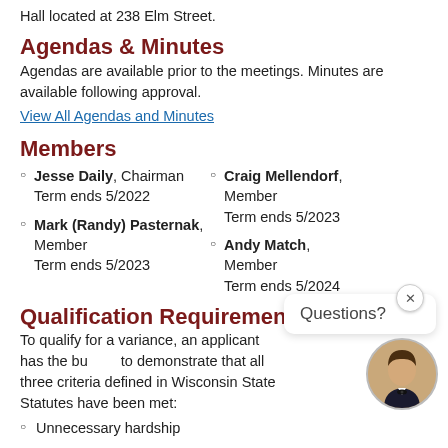Hall located at 238 Elm Street.
Agendas & Minutes
Agendas are available prior to the meetings. Minutes are available following approval.
View All Agendas and Minutes
Members
Jesse Daily, Chairman
Term ends 5/2022
Mark (Randy) Pasternak, Member
Term ends 5/2023
Craig Mellendorf, Member
Term ends 5/2023
Andy Match, Member
Term ends 5/2024
Qualification Requirements
To qualify for a variance, an applicant has the burden to demonstrate that all three criteria defined in Wisconsin State Statutes have been met:
Unnecessary hardship
Unique property limitations